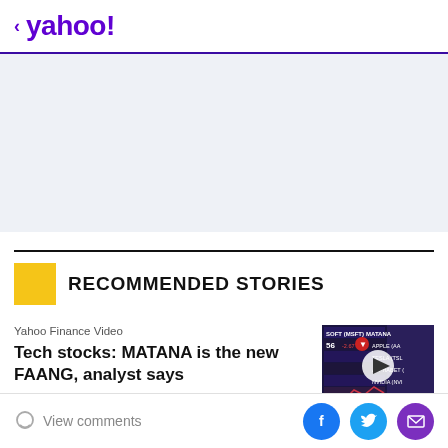< yahoo!
[Figure (other): Ad banner placeholder area with light blue-gray background]
RECOMMENDED STORIES
Yahoo Finance Video
Tech stocks: MATANA is the new FAANG, analyst says
[Figure (screenshot): Thumbnail image showing a stock market screen with MATANA, MSFT, APPLE, TESLA, ALPHABET, NVIDIA tickers and a video play button overlay]
View comments